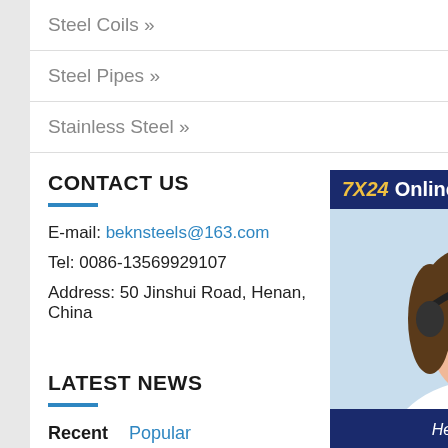Steel Coils »
Steel Pipes »
Stainless Steel »
CONTACT US
E-mail: beknsteels@163.com
Tel: 0086-13569929107
Address: 50 Jinshui Road, Henan, China
[Figure (photo): Customer service representative wearing a headset, smiling, with '7X24 Online', 'Hello, may I help you?' and 'Get Latest Price' button overlay]
LATEST NEWS
Recent   Popular